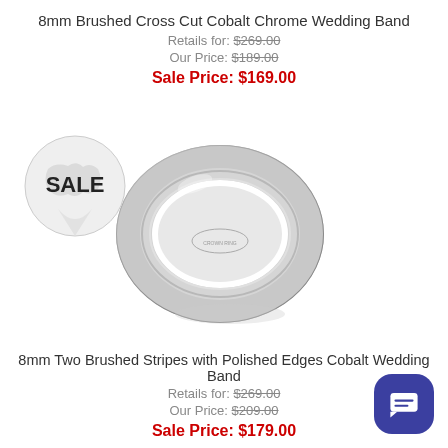8mm Brushed Cross Cut Cobalt Chrome Wedding Band
Retails for: $269.00
Our Price: $189.00
Sale Price: $169.00
[Figure (photo): SALE badge with world map pin shape]
[Figure (photo): Silver cobalt wedding band ring - Yukon 8MM, brushed stripes with polished edges]
YUKON 8MM
8mm Two Brushed Stripes with Polished Edges Cobalt Wedding Band
Retails for: $269.00
Our Price: $209.00
Sale Price: $179.00